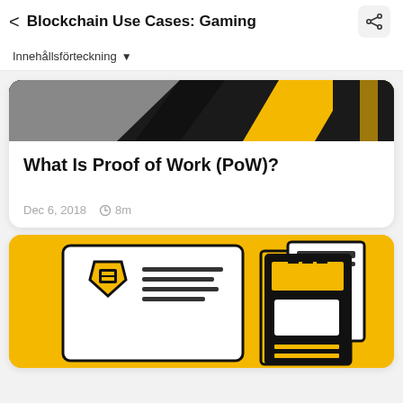< Blockchain Use Cases: Gaming
Innehållsförteckning ▾
[Figure (illustration): Partially visible card image with dark/black and yellow diagonal graphic design — top portion of a Proof of Work article card]
What Is Proof of Work (PoW)?
Dec 6, 2018   🕐 8m
[Figure (illustration): Yellow background card with black illustration of a shield/identity badge with stars and a document/building graphic — article thumbnail for a blockchain article]